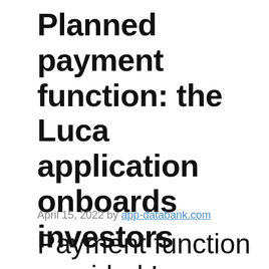Planned payment function: the Luca application onboards investors
April 15, 2022 by app-databank.com
Payment function provided Luca app attracts